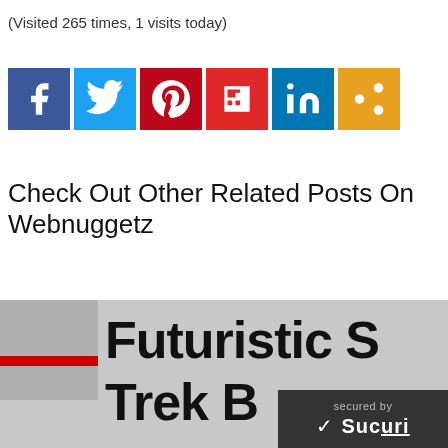(Visited 265 times, 1 visits today)
[Figure (infographic): Social media share buttons row: Facebook (blue), Twitter (blue), Pinterest (red), Flipboard (red), LinkedIn (blue), Share (orange)]
Check Out Other Related Posts On Webnuggetz
[Figure (screenshot): Partial thumbnail image showing bold text 'Futuristic St' and 'Trek B' partially visible with a red and gray bar on the left, and a Sucuri security badge overlay in the bottom right corner.]